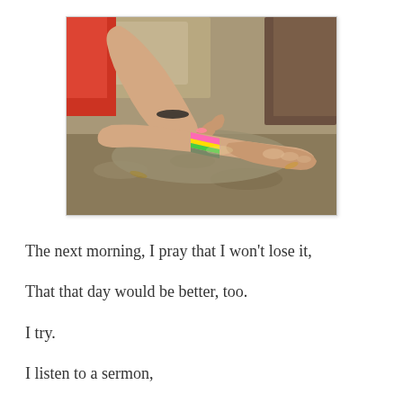[Figure (photo): Two hands on a rocky outdoor surface. One hand is tying or adjusting a colorful rainbow friendship bracelet on the other wrist. The bracelet has pink, yellow, and green colors. The background includes rocks and dirt.]
The next morning, I pray that I won't lose it,
That that day would be better, too.
I try.
I listen to a sermon,
Though I had to do it while decorating my sister's school